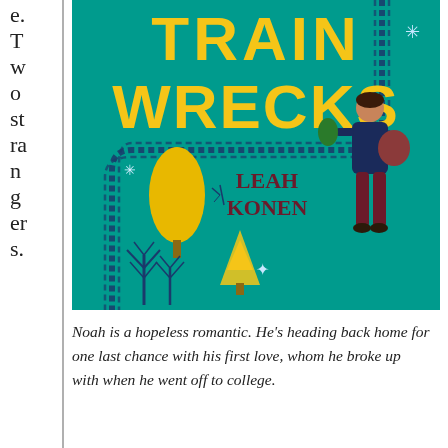e. Two strangers.
[Figure (illustration): Book cover of 'Train Wrecks' by Leah Konen. Teal/turquoise background with large yellow text reading 'TRAIN WRECKS' and author name 'LEAH KONEN'. Illustrated elements include a yellow tree, pine trees, a dashed train track path, stars/snowflakes, and a person standing with a bag.]
Noah is a hopeless romantic. He’s heading back home for one last chance with his first love, whom he broke up with when he went off to college.